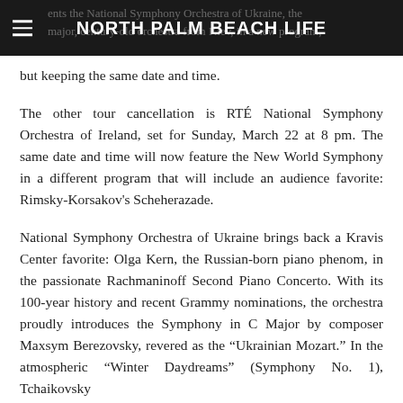NORTH PALM BEACH LIFE
ents the National Symphony Orchestra of Ukraine, the major, century-old orchestra from Kiev, in a new program, but keeping the same date and time.
The other tour cancellation is RTÉ National Symphony Orchestra of Ireland, set for Sunday, March 22 at 8 pm. The same date and time will now feature the New World Symphony in a different program that will include an audience favorite: Rimsky-Korsakov's Scheherazade.
National Symphony Orchestra of Ukraine brings back a Kravis Center favorite: Olga Kern, the Russian-born piano phenom, in the passionate Rachmaninoff Second Piano Concerto. With its 100-year history and recent Grammy nominations, the orchestra proudly introduces the Symphony in C Major by composer Maxsym Berezovsky, revered as the “Ukrainian Mozart.” In the atmospheric “Winter Daydreams” (Symphony No. 1), Tchaikovsky